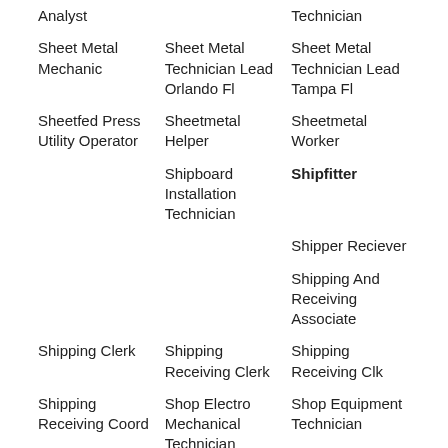Analyst
Technician
Sheet Metal Mechanic
Sheet Metal Technician Lead Orlando Fl
Sheet Metal Technician Lead Tampa Fl
Sheetfed Press Utility Operator
Sheetmetal Helper
Sheetmetal Worker
Shipboard Installation Technician
Shipfitter
Shipper Reciever
Shipping And Receiving Associate
Shipping Clerk
Shipping Receiving Clerk
Shipping Receiving Clk
Shipping Receiving Coord
Shop Electro Mechanical Technician
Shop Equipment Technician
Shop Visit Manager H F…